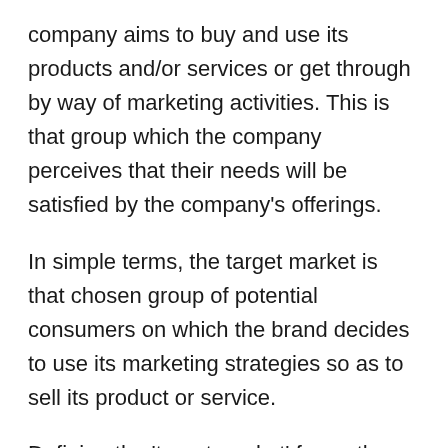company aims to buy and use its products and/or services or get through by way of marketing activities. This is that group which the company perceives that their needs will be satisfied by the company's offerings.
In simple terms, the target market is that chosen group of potential consumers on which the brand decides to use its marketing strategies so as to sell its product or service.
Defining the 'target market' forms the first step in the process of market segmentation. Now the question arises what is market segmentation?